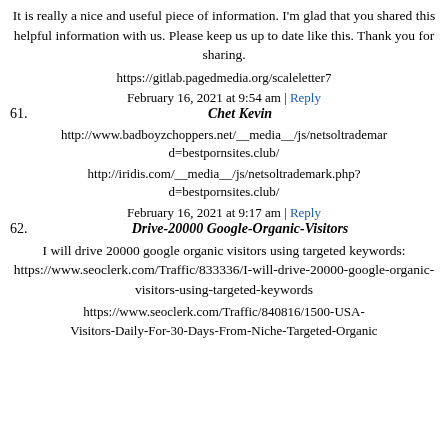It is really a nice and useful piece of information. I'm glad that you shared this helpful information with us. Please keep us up to date like this. Thank you for sharing.
https://gitlab.pagedmedia.org/scaleletter7
February 16, 2021 at 9:54 am | Reply
61. Chet Kevin
http://www.badboyzchoppers.net/__media__/js/netsoltrademark... d=bestpornsites.club/
http://iridis.com/__media__/js/netsoltrademark.php?d=bestpornsites.club/
February 16, 2021 at 9:17 am | Reply
62. Drive-20000 Google-Organic-Visitors
I will drive 20000 google organic visitors using targeted keywords: https://www.seoclerk.com/Traffic/833336/I-will-drive-20000-google-organic-visitors-using-targeted-keywords
https://www.seoclerk.com/Traffic/840816/1500-USA-Visitors-Daily-For-30-Days-From-Niche-Targeted-Organic...